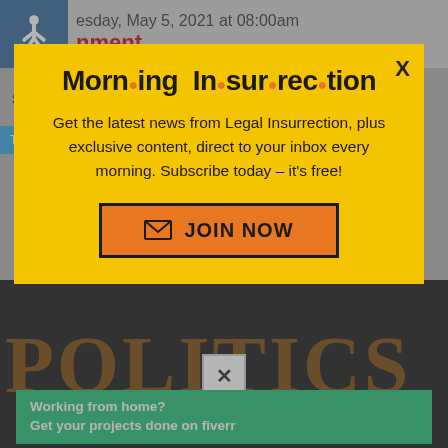Tuesday, May 5, 2021 at 08:00am
nment
Share This Story   Facebook   Twitter
Telegram   Gab   MeWe   Reddit   Email
[Figure (screenshot): Modal popup for Morning Insurrection newsletter subscription on a news website. Yellow background popup with bold title 'Morning Insurrection' with orange dots between syllables, body text 'Get the latest news from Legal Insurrection, plus exclusive content, direct to your inbox every morning. Subscribe today - it's free!' and an orange JOIN NOW button with envelope icon. An X close button is in the top right. Behind the modal is a news page with share buttons and a dark image area with politics text. A fiverr ad is at the bottom.]
Morning Insurrection
Get the latest news from Legal Insurrection, plus exclusive content, direct to your inbox every morning. Subscribe today – it's free!
JOIN NOW
Working from home? Get your projects done on fiverr